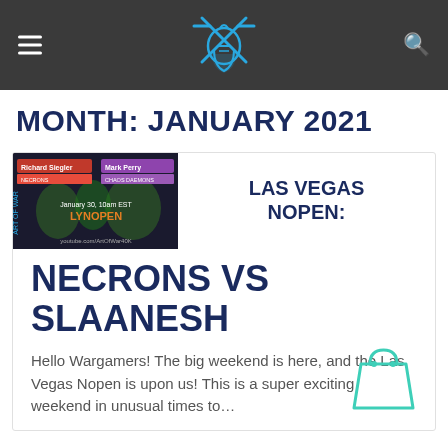Site header with logo, menu icon, and search icon
MONTH: JANUARY 2021
[Figure (screenshot): Thumbnail image for Las Vegas Nopen article showing two players: Richard Siegler (Necrons) vs Mark Perry (Chaos Daemons), January 30 10am EST, LYNOPEN, youtube.com/ArtOfWar40K]
LAS VEGAS NOPEN: NECRONS VS SLAANESH
Hello Wargamers! The big weekend is here, and the Las Vegas Nopen is upon us! This is a super exciting weekend in unusual times to…